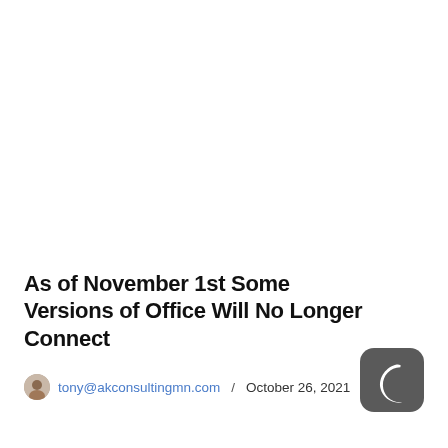As of November 1st Some Versions of Office Will No Longer Connect
tony@akconsultingmn.com / October 26, 2021